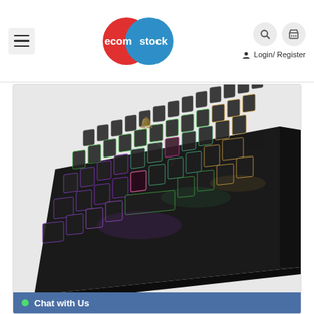[Figure (logo): ecomstock logo with overlapping red and blue circles]
Login/ Register
[Figure (photo): RGB mechanical gaming keyboard viewed from an elevated angle, showing colorful backlit keys including purple, green, and orange lighting]
Chat with Us